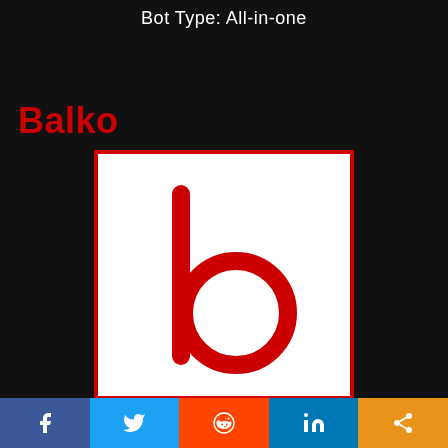Bot Type: All-in-one
Balko
[Figure (logo): Balko bot logo: white square with red border containing a red lowercase letter 'b']
Availability: Out of stock
Social share bar: Facebook, Twitter, Reddit, LinkedIn, Share